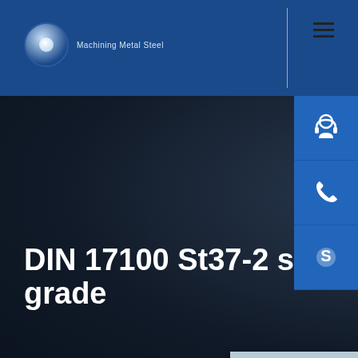Machining Metal Steel
DIN 17100 St37-2 steel grade
[Figure (screenshot): Website header with blue angled banner, logo circle, company name 'Machining Metal Steel', hamburger menu icon on right]
[Figure (photo): Dark industrial steel background with cylindrical steel rods]
[Figure (infographic): Right sidebar with three blue icon buttons: customer service (headset icon), phone icon, Skype icon. Below is a chat widget with a woman wearing a headset.]
24 ho
Custom
Home > Carbon and Low alloy Steel > DIN 17100 steel grade
Hello,How may I help you ?
Chat Now
For more information, please contact: